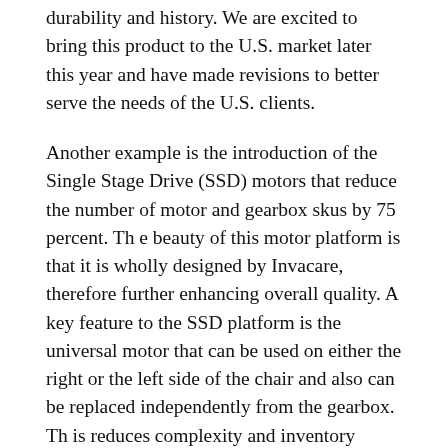durability and history. We are excited to bring this product to the U.S. market later this year and have made revisions to better serve the needs of the U.S. clients.
Another example is the introduction of the Single Stage Drive (SSD) motors that reduce the number of motor and gearbox skus by 75 percent. Th e beauty of this motor platform is that it is wholly designed by Invacare, therefore further enhancing overall quality. A key feature to the SSD platform is the universal motor that can be used on either the right or the left side of the chair and also can be replaced independently from the gearbox. Th is reduces complexity and inventory needing to be kept in stock.
One Invacare's new operating model serves both Invacare and the customer and positions both parties for future success. We are focused on delivering more